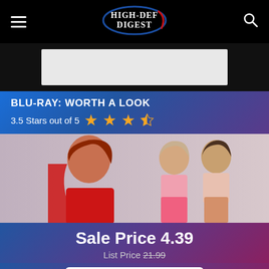High-Def Digest
[Figure (other): Advertisement banner placeholder, light gray rectangle]
BLU-RAY: WORTH A LOOK
3.5 Stars out of 5
[Figure (photo): Movie promotional photo showing a red-haired woman in red and two women in pink outfits]
Sale Price 4.39
List Price 21.99
Buy Now